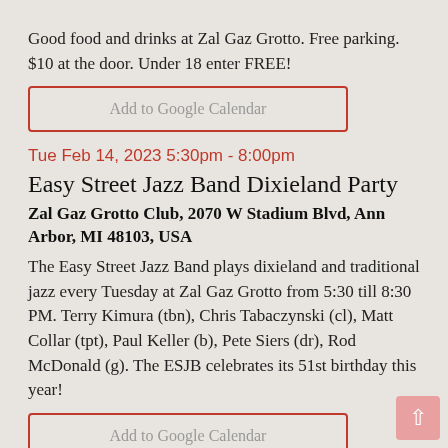Good food and drinks at Zal Gaz Grotto. Free parking. $10 at the door. Under 18 enter FREE!
Add to Google Calendar
Tue Feb 14, 2023 5:30pm - 8:00pm
Easy Street Jazz Band Dixieland Party
Zal Gaz Grotto Club, 2070 W Stadium Blvd, Ann Arbor, MI 48103, USA
The Easy Street Jazz Band plays dixieland and traditional jazz every Tuesday at Zal Gaz Grotto from 5:30 till 8:30 PM. Terry Kimura (tbn), Chris Tabaczynski (cl), Matt Collar (tpt), Paul Keller (b), Pete Siers (dr), Rod McDonald (g). The ESJB celebrates its 51st birthday this year!
Add to Google Calendar
Thu Feb 16, 2023 6:30pm - 9:30pm
Paul Keller Trio
London Chop House, 155 W Congress St, Detroit, MI 48226,